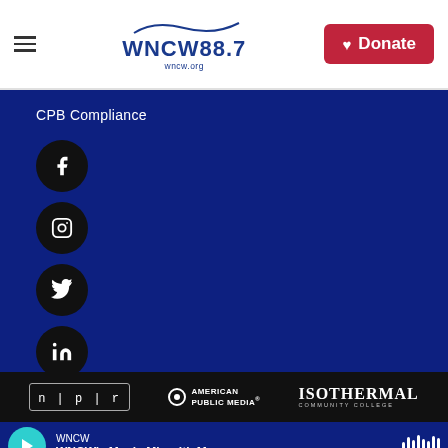WNCW 88.7 — wncw.org — Donate
CPB Compliance
[Figure (other): Social media icon buttons: Facebook, Instagram, Twitter, LinkedIn — black circles with white icons, vertical stack]
[Figure (logo): NPR logo box, American Public Media logo, Isothermal Community College logo — displayed in a black bar]
WNCW — WNCW's Music Mix with Ma...